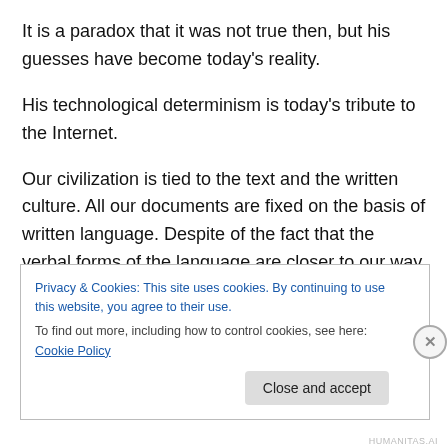It is a paradox that it was not true then, but his guesses have become today’s reality.
His technological determinism is today’s tribute to the Internet.
Our civilization is tied to the text and the written culture. All our documents are fixed on the basis of written language. Despite of the fact that the verbal forms of the language are closer to our way of thinking and automatically are easier to understand (redundant), written language
Privacy & Cookies: This site uses cookies. By continuing to use this website, you agree to their use.
To find out more, including how to control cookies, see here: Cookie Policy
Close and accept